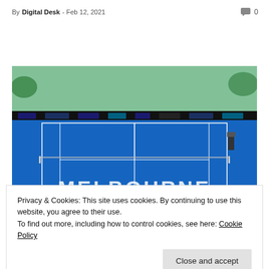By Digital Desk - Feb 12, 2021  0
[Figure (photo): Melbourne tennis court (Australian Open venue) with blue hard court surface, net, empty stands with green seats, and MELBOURNE lettering on the court surface]
Privacy & Cookies: This site uses cookies. By continuing to use this website, you agree to their use.
To find out more, including how to control cookies, see here: Cookie Policy
Close and accept
on hotel quarantine